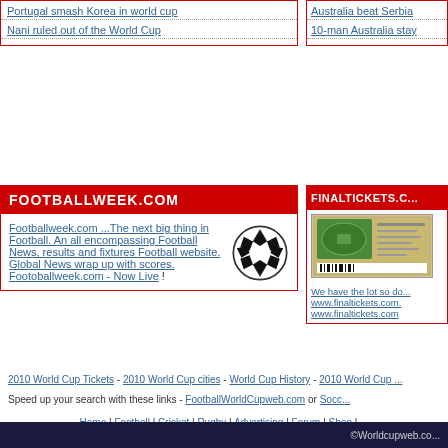Portugal smash Korea in world cup
Nani ruled out of the World Cup
Australia beat Serbia
10-man Australia stay
FOOTBALLWEEK.COM
Footballweek.com ...The next big thing in Football. An all encompassing Football News, results and fixtures Football website. Global News wrap up with scores. Footoballweek.com - Now Live !
FINALTICKETS.C...
[Figure (photo): Football match ticket image]
We have the lot so do... www.finaltickets.com. www.finaltickets.com
2010 World Cup Tickets - 2010 World Cup cities - World Cup History - 2010 World Cup ...
Speed up your search with these links - FootballWorldCupweb.com or Socc...
Home | Football | Cricket | Rugby | Advertising | Forum | Shop | ...
©Worldcupweb.co...